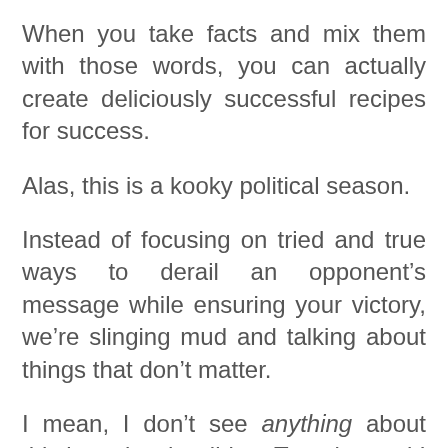When you take facts and mix them with those words, you can actually create deliciously successful recipes for success.
Alas, this is a kooky political season.
Instead of focusing on tried and true ways to derail an opponent’s message while ensuring your victory, we’re slinging mud and talking about things that don’t matter.
I mean, I don’t see anything about this interview he did on Tuesday and I should.
This is a continuation that is cut off at the bottom of the page.